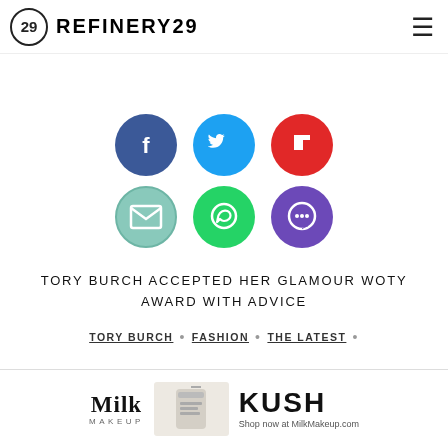REFINERY29
[Figure (infographic): Six circular social share icons in two rows: Facebook (dark blue), Twitter (light blue), Flipboard (red), Email (teal/mint), WhatsApp (green), Chat/Message (purple)]
TORY BURCH ACCEPTED HER GLAMOUR WOTY AWARD WITH ADVICE
TORY BURCH • FASHION • THE LATEST •
[Figure (photo): Advertisement banner for Milk Makeup KUSH product with text: Shop now at MilkMakeup.com]